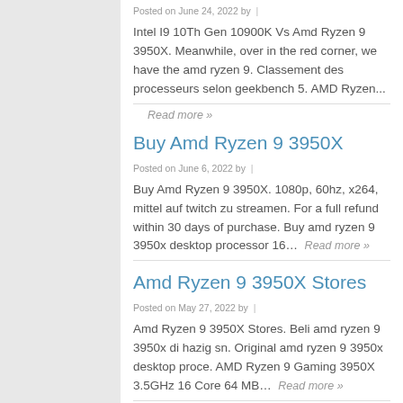Posted on June 24, 2022 by  |
Intel I9 10Th Gen 10900K Vs Amd Ryzen 9 3950X. Meanwhile, over in the red corner, we have the amd ryzen 9. Classement des processeurs selon geekbench 5. AMD Ryzen...
Read more »
Buy Amd Ryzen 9 3950X
Posted on June 6, 2022 by  |
Buy Amd Ryzen 9 3950X. 1080p, 60hz, x264, mittel auf twitch zu streamen. For a full refund within 30 days of purchase. Buy amd ryzen 9 3950x desktop processor 16…  Read more »
Amd Ryzen 9 3950X Stores
Posted on May 27, 2022 by  |
Amd Ryzen 9 3950X Stores. Beli amd ryzen 9 3950x di hazig sn. Original amd ryzen 9 3950x desktop proce. AMD Ryzen 9 Gaming 3950X 3.5GHz 16 Core 64 MB…  Read more »